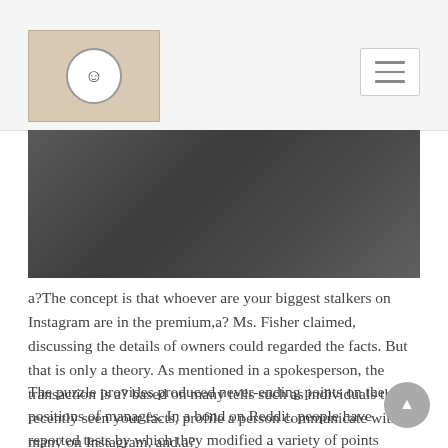Blog website header with logo and hamburger menu
[Figure (photo): Dark grey/charcoal abstract background image, possibly a close-up of a textured surface]
a?The concept is that whoever are your biggest stalkers on Instagram are in the premium,a? Ms. Fisher claimed, discussing the details of owners could regarded the facts. But that is only a theory. As mentioned in a spokesperson, the transaction is a? based on many tells such as individuals that recently seen your facts, profile a person communicate with many on Instagram, and.a?
The puzzle provides produced never-ending points on the positions of manages. In a bond on Reddit, people have reported tests by which they modified a variety of points like how many times the two viewed a friendas member profile, or